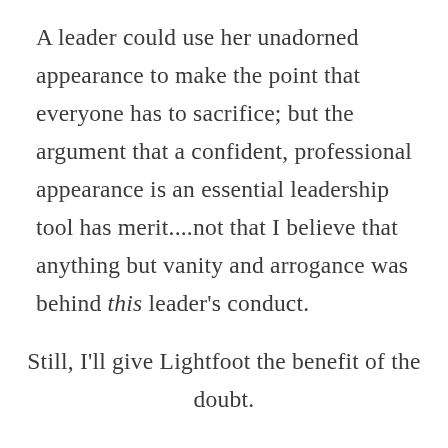A leader could use her unadorned appearance to make the point that everyone has to sacrifice; but the argument that a confident, professional appearance is an essential leadership tool has merit....not that I believe that anything but vanity and arrogance was behind this leader's conduct.
Still, I'll give Lightfoot the benefit of the doubt.